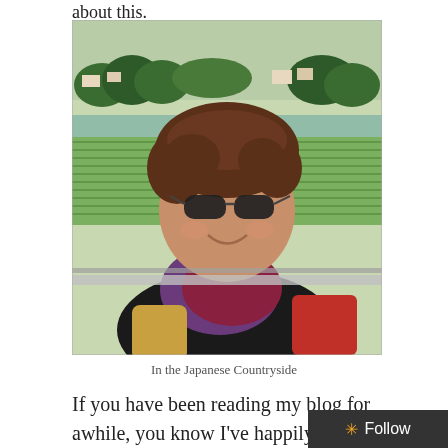about this.
[Figure (photo): A woman with curly brown hair wearing sunglasses and a colorful scarf, smiling at the camera. She is carrying a backpack and standing outdoors with Japanese countryside scenery (green rice fields, hills, and a town) visible in the background.]
In the Japanese Countryside
If you have been reading my blog for awhile, you know I've happily lived and traveled in other countries. I dug out some of these old snapshots